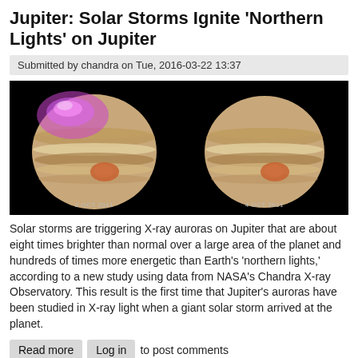Jupiter: Solar Storms Ignite 'Northern Lights' on Jupiter
Submitted by chandra on Tue, 2016-03-22 13:37
[Figure (photo): Two side-by-side images of Jupiter on a black background. Left image labeled '2 OCT 2011' shows Jupiter with purple/magenta X-ray aurora glowing at the north pole. Right image labeled '4 OCT 2011' shows Jupiter without the aurora. Both images show Jupiter's characteristic brown and white bands and the Great Red Spot.]
Solar storms are triggering X-ray auroras on Jupiter that are about eight times brighter than normal over a large area of the planet and hundreds of times more energetic than Earth's 'northern lights,' according to a new study using data from NASA's Chandra X-ray Observatory. This result is the first time that Jupiter's auroras have been studied in X-ray light when a giant solar storm arrived at the planet.
Read more  Log in  to post comments